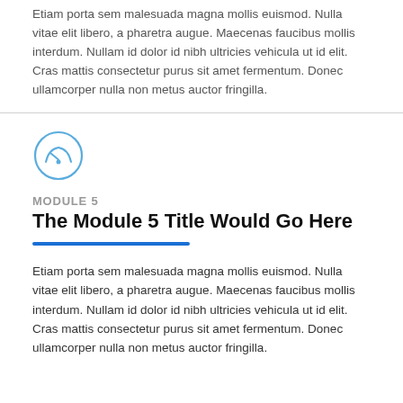Etiam porta sem malesuada magna mollis euismod. Nulla vitae elit libero, a pharetra augue. Maecenas faucibus mollis interdum. Nullam id dolor id nibh ultricies vehicula ut id elit. Cras mattis consectetur purus sit amet fermentum. Donec ullamcorper nulla non metus auctor fringilla.
[Figure (illustration): Circular icon with a gauge/speedometer symbol drawn in light blue outline style]
MODULE 5
The Module 5 Title Would Go Here
Etiam porta sem malesuada magna mollis euismod. Nulla vitae elit libero, a pharetra augue. Maecenas faucibus mollis interdum. Nullam id dolor id nibh ultricies vehicula ut id elit. Cras mattis consectetur purus sit amet fermentum. Donec ullamcorper nulla non metus auctor fringilla.